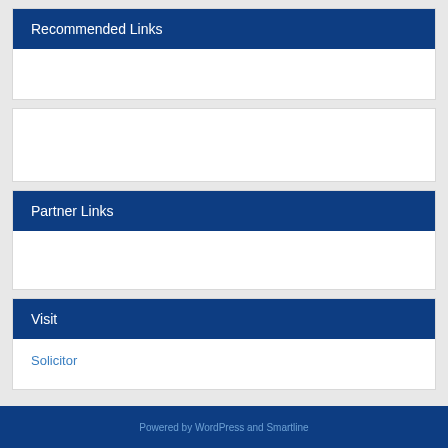Recommended Links
Partner Links
Visit
Solicitor
Powered by WordPress and Smartline